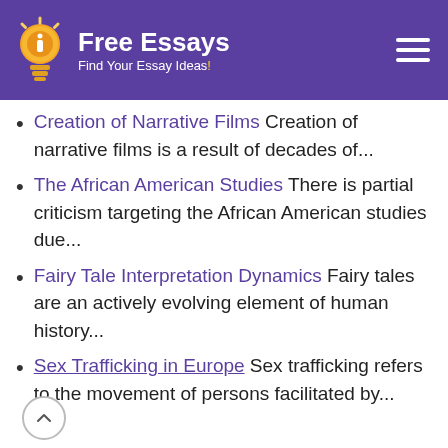Free Essays - Find Your Essay Ideas!
Creation of Narrative Films Creation of narrative films is a result of decades of...
The African American Studies There is partial criticism targeting the African American studies due...
Fairy Tale Interpretation Dynamics Fairy tales are an actively evolving element of human history...
Sex Trafficking in Europe Sex trafficking refers to the movement of persons facilitated by...